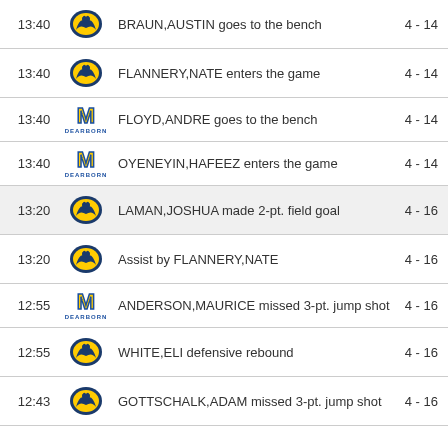| Time | Team | Description | Score |
| --- | --- | --- | --- |
| 13:40 | Panthers | BRAUN,AUSTIN goes to the bench | 4 - 14 |
| 13:40 | Panthers | FLANNERY,NATE enters the game | 4 - 14 |
| 13:40 | Michigan Dearborn | FLOYD,ANDRE goes to the bench | 4 - 14 |
| 13:40 | Michigan Dearborn | OYENEYIN,HAFEEZ enters the game | 4 - 14 |
| 13:20 | Panthers | LAMAN,JOSHUA made 2-pt. field goal | 4 - 16 |
| 13:20 | Panthers | Assist by FLANNERY,NATE | 4 - 16 |
| 12:55 | Michigan Dearborn | ANDERSON,MAURICE missed 3-pt. jump shot | 4 - 16 |
| 12:55 | Panthers | WHITE,ELI defensive rebound | 4 - 16 |
| 12:43 | Panthers | GOTTSCHALK,ADAM missed 3-pt. jump shot | 4 - 16 |